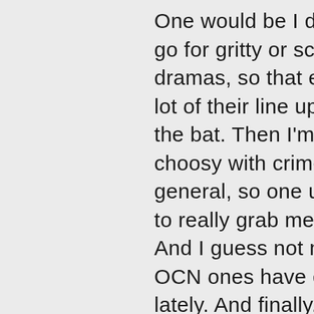One would be I don't tend to go for gritty or scary crime dramas, so that eliminates a lot of their line up right off the bat. Then I'm more choosy with crime shows in general, so one usually has to really grab me to go for it. And I guess not many of the OCN ones have done that lately. And finally, I really prefer to watch